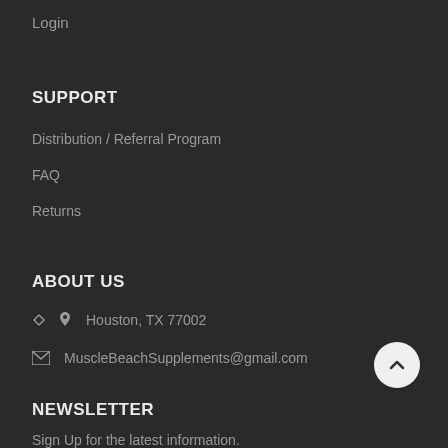Login
SUPPORT
Distribution / Referral Program
FAQ
Returns
ABOUT US
Houston, TX 77002
MuscleBeachSupplements@gmail.com
NEWSLETTER
Sign Up for the latest information.